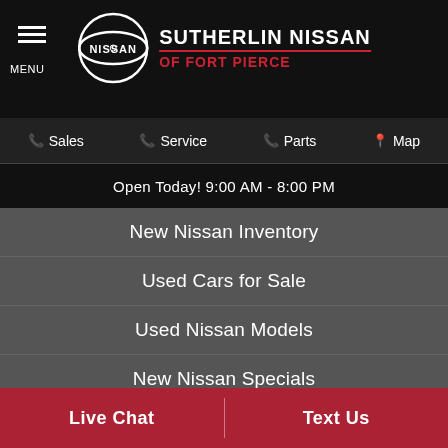SUTHERLIN NISSAN OF FORT PIERCE
Sales
Service
Parts
Map
Open Today! 9:00 AM - 8:00 PM
New Nissan Inventory
Used Cars for Sale
Used Nissan Models
New Nissan Specials
Used Cars Specials
★ Popular Models
New Nissan Altima
New Nissan Maxima
Live Chat | Text Us